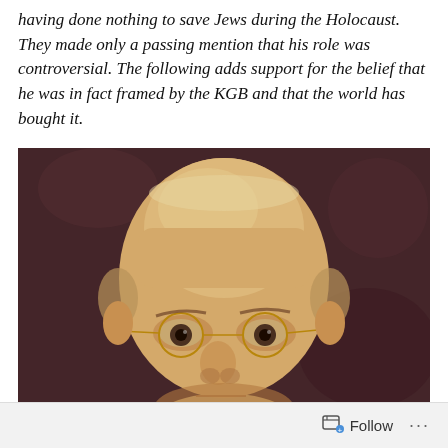having done nothing to save Jews during the Holocaust. They made only a passing mention that his role was controversial. The following adds support for the belief that he was in fact framed by the KGB and that the world has bought it.
[Figure (photo): Close-up painted portrait of a bald elderly man wearing round wire-rimmed glasses, against a dark brownish-purple background.]
Follow ...